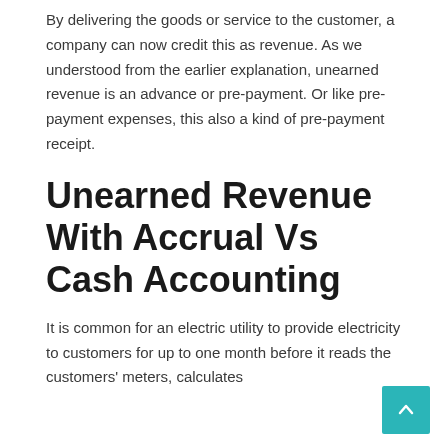By delivering the goods or service to the customer, a company can now credit this as revenue. As we understood from the earlier explanation, unearned revenue is an advance or pre-payment. Or like pre-payment expenses, this also a kind of pre-payment receipt.
Unearned Revenue With Accrual Vs Cash Accounting
It is common for an electric utility to provide electricity to customers for up to one month before it reads the customers' meters, calculates